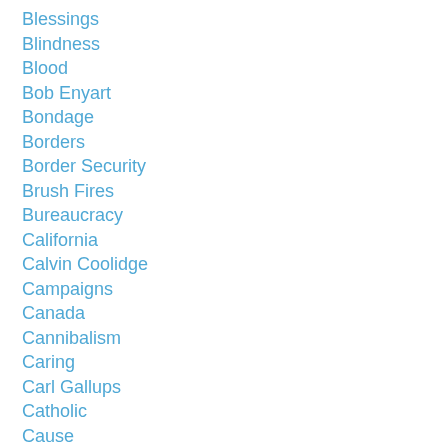Blessings
Blindness
Blood
Bob Enyart
Bondage
Borders
Border Security
Brush Fires
Bureaucracy
California
Calvin Coolidge
Campaigns
Canada
Cannibalism
Caring
Carl Gallups
Catholic
Cause
Certainty
Cesare Beccaria
Choi...